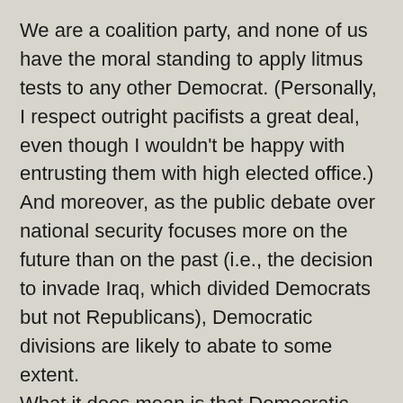We are a coalition party, and none of us have the moral standing to apply litmus tests to any other Democrat. (Personally, I respect outright pacifists a great deal, even though I wouldn't be happy with entrusting them with high elected office.) And moreover, as the public debate over national security focuses more on the future than on the past (i.e., the decision to invade Iraq, which divided Democrats but not Republicans), Democratic divisions are likely to abate to some extent. What it does mean is that Democratic candidates have to make their own position on matters of war and peace as clear as possible, and to have the courage not only to stand up to a Republican president, but to discomfit fellow Democrats whose views of America's role in the world are morally hazardous and politically disastrous. The war on terror simply is not a topic on which Democrats have the liberty to hedge or fudge or change the subject; for the foreseeable future, it will be a